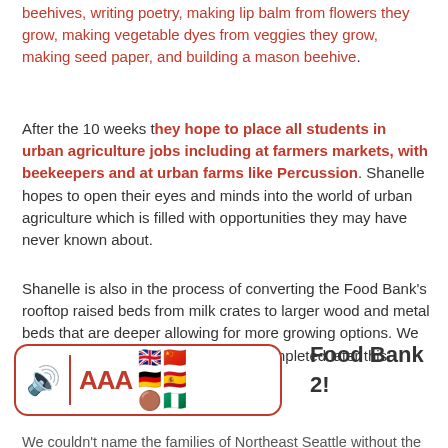beehives, writing poetry, making lip balm from flowers they grow, making vegetable dyes from veggies they grow, making seed paper, and building a mason beehive.
After the 10 weeks they hope to place all students in urban agriculture jobs including at farmers markets, with beekeepers and at urban farms like Percussion. Shanelle hopes to open their eyes and minds into the world of urban agriculture which is filled with opportunities they may have never known about.
Shanelle is also in the process of converting the Food Bank's rooftop raised beds from milk crates to larger wood and metal beds that are deeper allowing for more growing options. We can't wait for you to see it when it's completed later this spring!
[Figure (other): Accessibility widget bar with speaker icon, AAA text size control, and language/flag emoji selector. Partially overlaps with section title text reading 'Food Bank' and '2!']
We couldn't name the families of Northeast Seattle without the